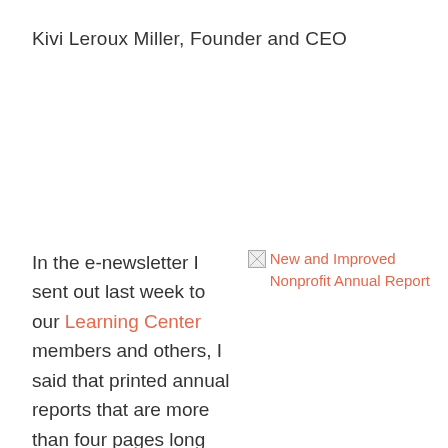Kivi Leroux Miller, Founder and CEO
In the e-newsletter I sent out last week to our Learning Center members and others, I said that printed annual reports that are more than four pages long are a waste of
[Figure (other): Broken image placeholder for 'New and Improved Nonprofit Annual Report']